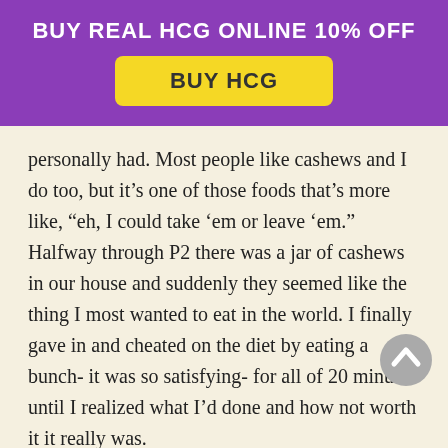BUY REAL HCG ONLINE 10% OFF
BUY HCG
personally had.  Most people like cashews and I do too, but it’s one of those foods that’s more like, “eh, I could take ‘em or leave ‘em.”  Halfway through P2 there was a jar of cashews in our house and suddenly they seemed like the thing I most wanted to eat in the world.  I finally gave in and cheated on the diet by eating a bunch- it was so satisfying- for all of 20 minutes until I realized what I’d done and how not worth it it really was.
Example 2:  A social gathering that has a bunch of pie, cake and potato salad.  Normally if you were not on